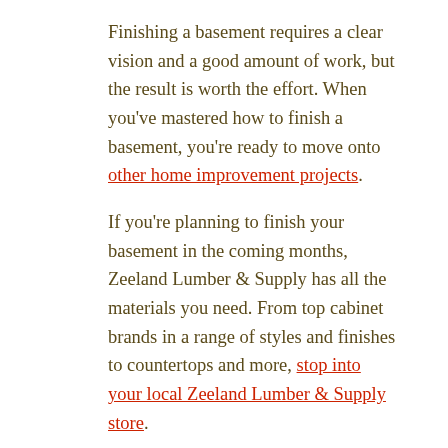Finishing a basement requires a clear vision and a good amount of work, but the result is worth the effort. When you've mastered how to finish a basement, you're ready to move onto other home improvement projects.
If you're planning to finish your basement in the coming months, Zeeland Lumber & Supply has all the materials you need. From top cabinet brands in a range of styles and finishes to countertops and more, stop into your local Zeeland Lumber & Supply store.